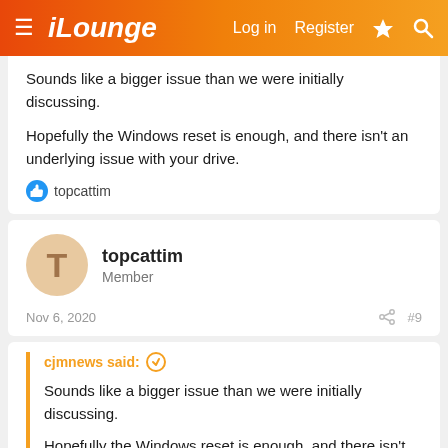iLounge | Log in | Register
Sounds like a bigger issue than we were initially discussing.

Hopefully the Windows reset is enough, and there isn't an underlying issue with your drive.
topcattim
topcattim
Member
Nov 6, 2020  #9
cjmnews said:
Sounds like a bigger issue than we were initially discussing.

Hopefully the Windows reset is enough, and there isn't an underlying issue with your drive.